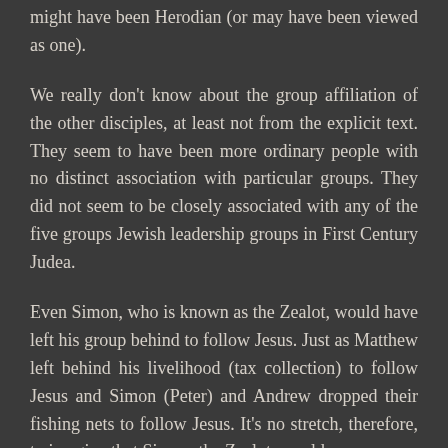might have been Herodian (or may have been viewed as one).
We really don't know about the group affiliation of the other disciples, at least not from the explicit text. They seem to have been more ordinary people with no distinct association with particular groups. They did not seem to be closely associated with any of the five groups Jewish leadership groups in First Century Judea.
Even Simon, who is known as the Zealot, would have left his group behind to follow Jesus. Just as Matthew left behind his livelihood (tax collection) to follow Jesus and Simon (Peter) and Andrew dropped their fishing nets to follow Jesus. It's no stretch, therefore, to imagine that Simon, the Zealot, would